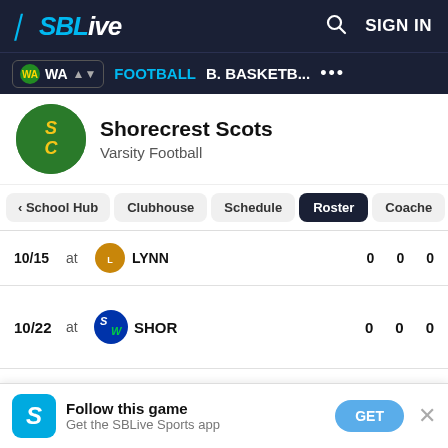SBLive — SIGN IN — WA — FOOTBALL — B. BASKETB... — ...
Shorecrest Scots — Varsity Football
Navigation tabs: School Hub, Clubhouse, Schedule, Roster (active), Coaches
| Date | Loc | Logo | Team | Score1 | Score2 | Score3 |
| --- | --- | --- | --- | --- | --- | --- |
| 10/15 | at |  | LYNN | 0 | 0 | 0 |
| 10/22 | at |  | SHOR | 0 | 0 | 0 |
| 10/29 | vs |  | TBA | 0 | 0 | 0 |
Follow this game — Get the SBLive Sports app — GET